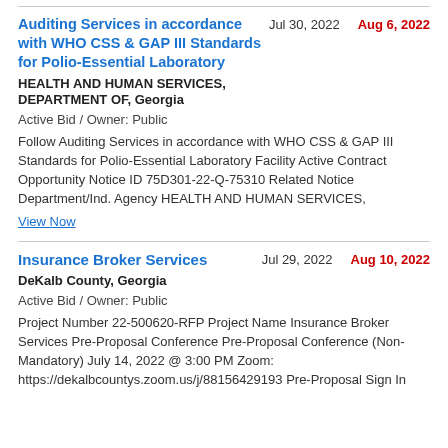Auditing Services in accordance with WHO CSS & GAP III Standards for Polio-Essential Laboratory
Jul 30, 2022   Aug 6, 2022
HEALTH AND HUMAN SERVICES, DEPARTMENT OF, Georgia
Active Bid / Owner: Public
Follow Auditing Services in accordance with WHO CSS & GAP III Standards for Polio-Essential Laboratory Facility Active Contract Opportunity Notice ID 75D301-22-Q-75310 Related Notice Department/Ind. Agency HEALTH AND HUMAN SERVICES,
View Now
Insurance Broker Services
Jul 29, 2022   Aug 10, 2022
DeKalb County, Georgia
Active Bid / Owner: Public
Project Number 22-500620-RFP Project Name Insurance Broker Services Pre-Proposal Conference Pre-Proposal Conference (Non-Mandatory) July 14, 2022 @ 3:00 PM Zoom: https://dekalbcountys.zoom.us/j/88156429193 Pre-Proposal Sign In